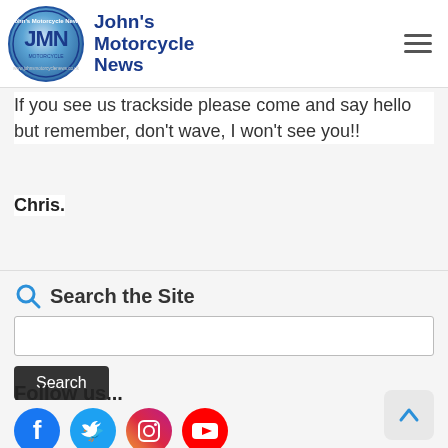John's Motorcycle News
If you see us trackside please come and say hello but remember, don't wave, I won't see you!!
Chris.
Search the Site
Follow us...
[Figure (logo): Social media icons: Facebook, Twitter, Instagram, YouTube]